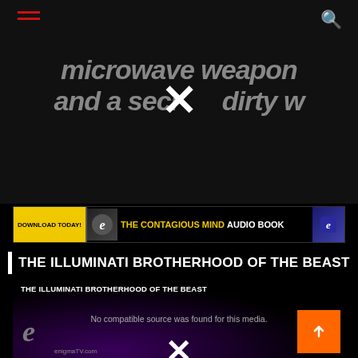[Figure (screenshot): Dark website screenshot with navigation hamburger menu and search icon on top bar]
microwave weapon and a secret dirty w
[Figure (screenshot): Advertisement banner: DOWNLOAD TODAY! THE CONTAGIOUS MIND AUDIO BOOK]
THE ILLUMINATI BROTHERHOOD OF THE BEAST
[Figure (screenshot): Video player showing THE ILLUMINATI BROTHERHOOD OF THE BEAST with message No compatible source was found for this media. EnigmaTV.com logo visible with orange back-to-top button]